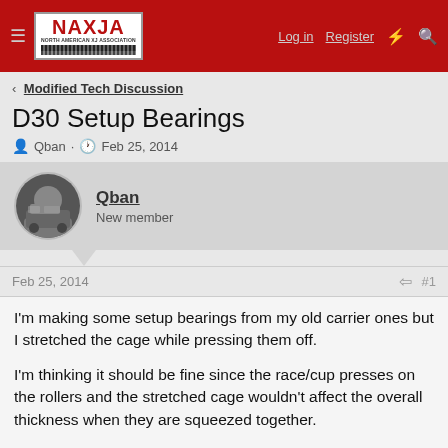NAXJA — Log in  Register
Modified Tech Discussion
D30 Setup Bearings
Qban · Feb 25, 2014
Qban
New member
Feb 25, 2014  #1
I'm making some setup bearings from my old carrier ones but I stretched the cage while pressing them off.

I'm thinking it should be fine since the race/cup presses on the rollers and the stretched cage wouldn't affect the overall thickness when they are squeezed together.

What do you guys think?
Thanks